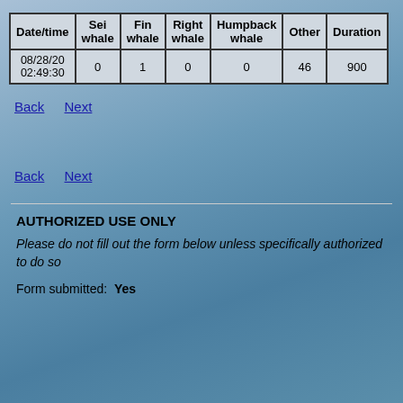| Date/time | Sei whale | Fin whale | Right whale | Humpback whale | Other | Duration |
| --- | --- | --- | --- | --- | --- | --- |
| 08/28/20 02:49:30 | 0 | 1 | 0 | 0 | 46 | 900 |
Back   Next
Back   Next
AUTHORIZED USE ONLY
Please do not fill out the form below unless specifically authorized to do so
Form submitted:  Yes